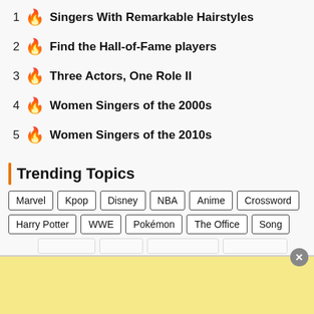1 🔥 Singers With Remarkable Hairstyles
2 🔥 Find the Hall-of-Fame players
3 🔥 Three Actors, One Role II
4 🔥 Women Singers of the 2000s
5 🔥 Women Singers of the 2010s
Trending Topics
Marvel Kpop Disney NBA Anime Crossword
Harry Potter WWE Pokémon The Office Song